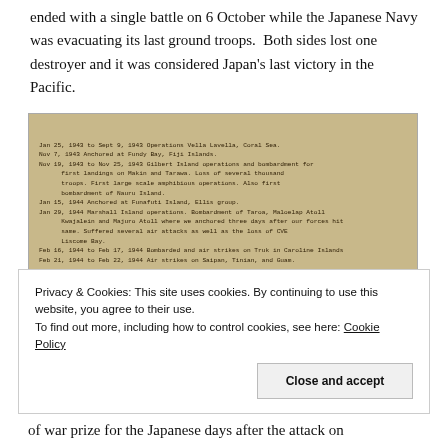ended with a single battle on 6 October while the Japanese Navy was evacuating its last ground troops.  Both sides lost one destroyer and it was considered Japan's last victory in the Pacific.
[Figure (photo): A scanned image of a typed chronology document showing entries from 1943-1944, including operations in Vella Lavella, Coral Sea, Fundy Bay, Gilbert Island operations, Marshall Island operations, and air strikes on Truk and Saipan.]
The 1943-1944 portion of the chronology in Kenney's World War II memorabilia.
Privacy & Cookies: This site uses cookies. By continuing to use this website, you agree to their use. To find out more, including how to control cookies, see here: Cookie Policy
of war prize for the Japanese days after the attack on